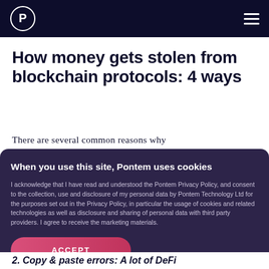Pontem – navigation header with logo and hamburger menu
How money gets stolen from blockchain protocols: 4 ways
There are several common reasons why
When you use this site, Pontem uses cookies
I acknowledge that I have read and understood the Pontem Privacy Policy, and consent to the collection, use and disclosure of my personal data by Pontem Technology Ltd for the purposes set out in the Privacy Policy, in particular the usage of cookies and related technologies as well as disclosure and sharing of personal data with third party providers. I agree to receive the marketing materials.
ACCEPT
2. Copy & paste errors: A lot of DeFi